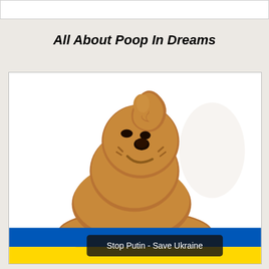All About Poop In Dreams
[Figure (illustration): Cartoon illustration of an anthropomorphic poop emoji character — a smiling brown pile of poop with a face, set against a white background. At the bottom is a Ukrainian flag banner (blue and yellow) with a dark overlay text box reading 'Stop Putin - Save Ukraine'.]
Stop Putin - Save Ukraine